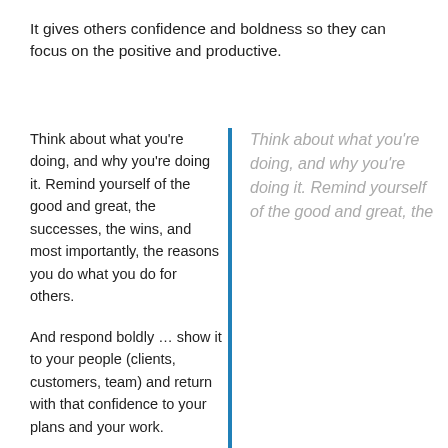It gives others confidence and boldness so they can focus on the positive and productive.
Think about what you’re doing, and why you’re doing it. Remind yourself of the good and great, the successes, the wins, and most importantly, the reasons you do what you do for others.
And respond boldly … show it to your people (clients, customers, team) and return with that confidence to your plans and your work.
Think about what you’re doing, and why you’re doing it. Remind yourself of the good and great, the